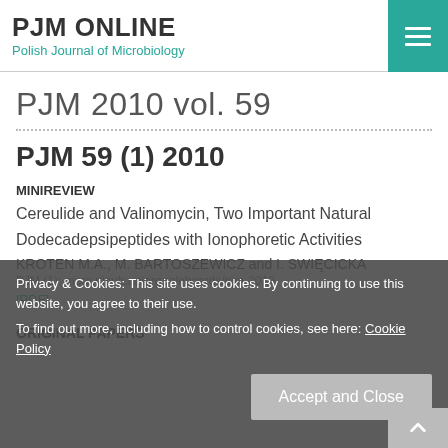PJM ONLINE
Polish Journal of Microbiology
PJM 2010 vol. 59
PJM 59 (1) 2010
MINIREVIEW
Cereulide and Valinomycin, Two Important Natural Dodecadepsipeptides with Ionophoretic Activities
KROTEN M.A., M. BARTOSZEWICZ and I. SWIĘCICKA
PJM (1): more.uipub.uniorg roleboards/pjm-2010-
[PDF]
ORIGINAL PAPERS
Privacy & Cookies: This site uses cookies. By continuing to use this website, you agree to their use. To find out more, including how to control cookies, see here: Cookie Policy